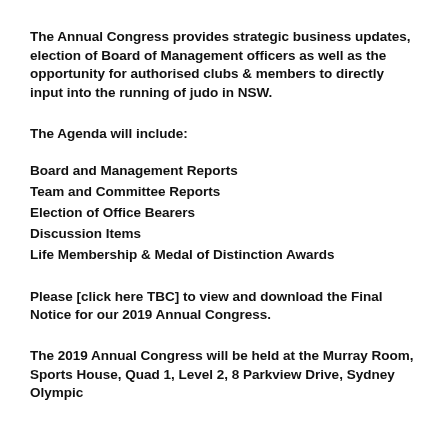The Annual Congress provides strategic business updates, election of Board of Management officers as well as the opportunity for authorised clubs & members to directly input into the running of judo in NSW.
The Agenda will include:
Board and Management Reports
Team and Committee Reports
Election of Office Bearers
Discussion Items
Life Membership & Medal of Distinction Awards
Please [click here TBC] to view and download the Final Notice for our 2019 Annual Congress.
The 2019 Annual Congress will be held at the Murray Room, Sports House, Quad 1, Level 2, 8 Parkview Drive, Sydney Olympic